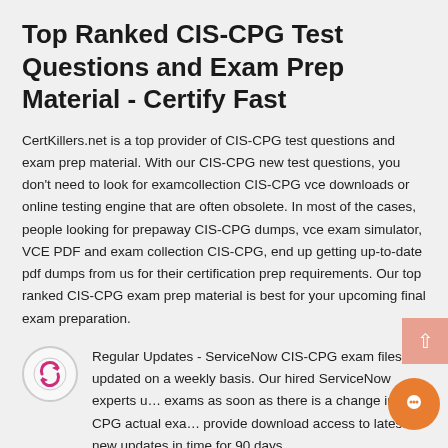Top Ranked CIS-CPG Test Questions and Exam Prep Material - Certify Fast
CertKillers.net is a top provider of CIS-CPG test questions and exam prep material. With our CIS-CPG new test questions, you don't need to look for examcollection CIS-CPG vce downloads or online testing engine that are often obsolete. In most of the cases, people looking for prepaway CIS-CPG dumps, vce exam simulator, VCE PDF and exam collection CIS-CPG, end up getting up-to-date pdf dumps from us for their certification prep requirements. Our top ranked CIS-CPG exam prep material is best for your upcoming final exam preparation.
Regular Updates - ServiceNow CIS-CPG exam files are updated on a weekly basis. Our hired ServiceNow experts u... exams as soon as there is a change in CIS-CPG actual exa... provide download access to latest new updates in time for 90 days.